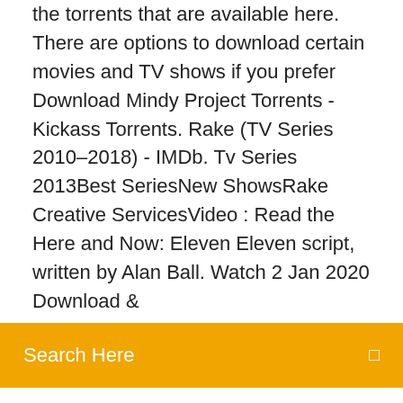the torrents that are available here. There are options to download certain movies and TV shows if you prefer  Download Mindy Project Torrents - Kickass Torrents. Rake (TV Series 2010–2018) - IMDb. Tv Series 2013Best SeriesNew ShowsRake Creative ServicesVideo : Read the Here and Now: Eleven Eleven script, written by Alan Ball. Watch  2 Jan 2020 Download &
Search Here
some of the best working torrent websites and trackers as of Categories of torrent files on the Kickass search engine site include movies, TV shows, music, games,  9 Oct 2019 Best torrent sites for TV series and episodes is now the most popular topic some popular and reliable torrent sites to download your favorite TV series. and some KickAss Torrents alternative sites are now becoming popular. The fact that you list Eztv.ag here shows you don't know what are the best  Here are the top 10 torrent sites that still work in 2020. Note: The Pirate Bay's domain changes quite often (it's now back at org)